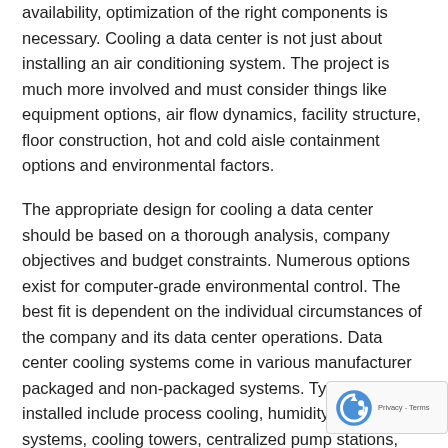availability, optimization of the right components is necessary. Cooling a data center is not just about installing an air conditioning system. The project is much more involved and must consider things like equipment options, air flow dynamics, facility structure, floor construction, hot and cold aisle containment options and environmental factors.
The appropriate design for cooling a data center should be based on a thorough analysis, company objectives and budget constraints. Numerous options exist for computer-grade environmental control. The best fit is dependent on the individual circumstances of the company and its data center operations. Data center cooling systems come in various manufacturer packaged and non-packaged systems. Typical systems installed include process cooling, humidity control systems, cooling towers, centralized pump stations, chillers and system monitoring and controls. However, cooling a data center doesn't stop with a system installation. Just as important is the ongoing maintenance of the cooling